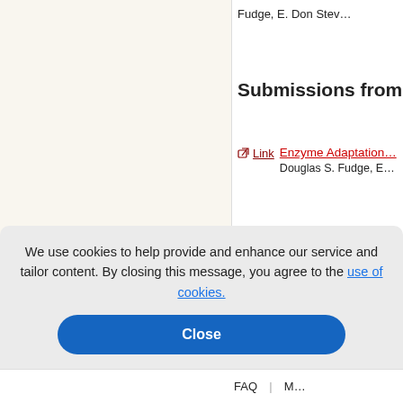Fudge, E. Don Stev…
Submissions from 199…
Link  Enzyme Adaptation…
Douglas S. Fudge, E…
PDF  Paleoseismicity Of t… From Cone Penetro…
Stein
Link  Archaeal-type Lysyl-…
James L. Bono, Pat…
5  6  7
We use cookies to help provide and enhance our service and tailor content. By closing this message, you agree to the use of cookies.
Close
FAQ  |  M…